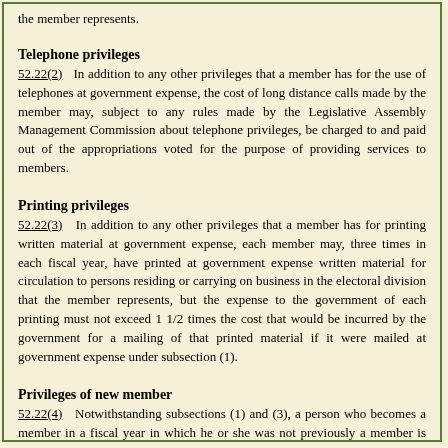the member represents.
Telephone privileges
52.22(2)   In addition to any other privileges that a member has for the use of telephones at government expense, the cost of long distance calls made by the member may, subject to any rules made by the Legislative Assembly Management Commission about telephone privileges, be charged to and paid out of the appropriations voted for the purpose of providing services to members.
Printing privileges
52.22(3)   In addition to any other privileges that a member has for printing written material at government expense, each member may, three times in each fiscal year, have printed at government expense written material for circulation to persons residing or carrying on business in the electoral division that the member represents, but the expense to the government of each printing must not exceed 1 1/2 times the cost that would be incurred by the government for a mailing of that printed material if it were mailed at government expense under subsection (1).
Privileges of new member
52.22(4)   Notwithstanding subsections (1) and (3), a person who becomes a member in a fiscal year in which he or she was not previously a member is entitled to the mailing and printing privileges referred to in subsections (1) and (3)
(a)  as from and on execution of more than in the...